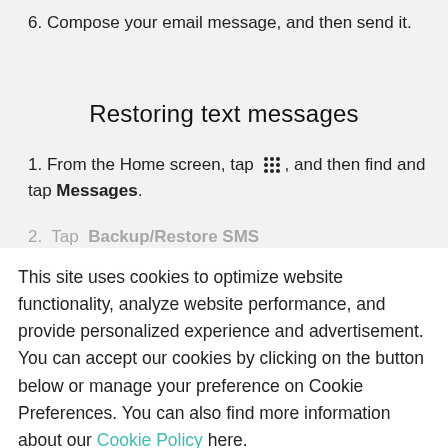6. Compose your email message, and then send it.
Restoring text messages
1. From the Home screen, tap [grid icon], and then find and tap Messages.
2. Tap Backup/Restore SMS
This site uses cookies to optimize website functionality, analyze website performance, and provide personalized experience and advertisement. You can accept our cookies by clicking on the button below or manage your preference on Cookie Preferences. You can also find more information about our Cookie Policy here.
This backup file is not password
Cookie preferences | Accept